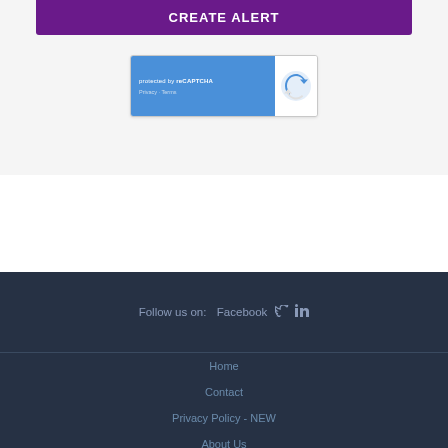CREATE ALERT
[Figure (screenshot): reCAPTCHA widget showing 'protected by reCAPTCHA' text with Privacy and Terms links on blue background, with Google reCAPTCHA logo on white right panel]
Follow us on: Facebook [Twitter icon] [LinkedIn icon]
Home
Contact
Privacy Policy - NEW
About Us